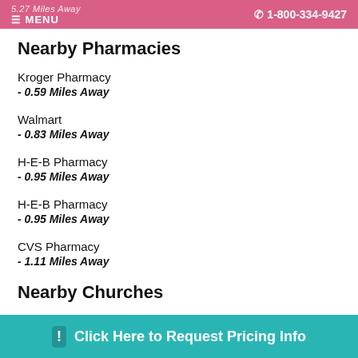≡ MENU  5.27 Miles Away  ☎ 1-800-334-9427
Nearby Pharmacies
Kroger Pharmacy - 0.59 Miles Away
Walmart - 0.83 Miles Away
H-E-B Pharmacy - 0.95 Miles Away
H-E-B Pharmacy - 0.95 Miles Away
CVS Pharmacy - 1.11 Miles Away
Nearby Churches
Trinity United Methodist Church - 0...
Click Here to Request Pricing Info